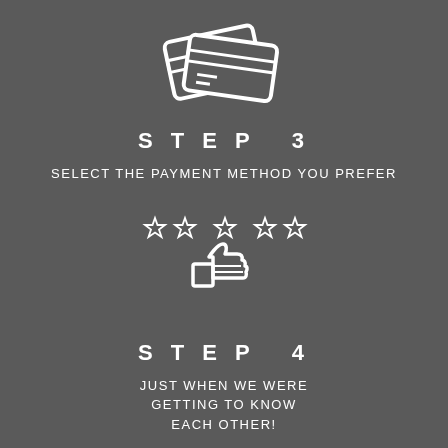[Figure (illustration): White line-art icon of payment cards (credit/debit cards) overlapping each other on dark grey background]
STEP 3
SELECT THE PAYMENT METHOD YOU PREFER
[Figure (illustration): White line-art icons: five star rating symbols above a thumbs up icon on dark grey background]
STEP 4
JUST WHEN WE WERE GETTING TO KNOW EACH OTHER!